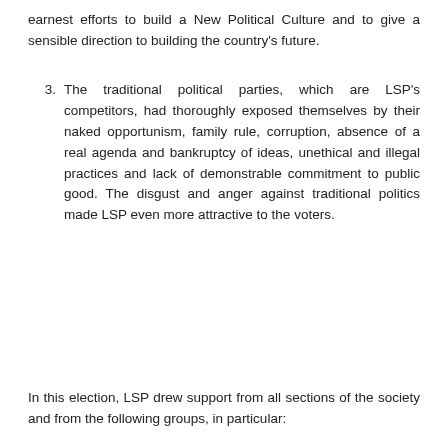earnest efforts to build a New Political Culture and to give a sensible direction to building the country's future.
3. The traditional political parties, which are LSP's competitors, had thoroughly exposed themselves by their naked opportunism, family rule, corruption, absence of a real agenda and bankruptcy of ideas, unethical and illegal practices and lack of demonstrable commitment to public good. The disgust and anger against traditional politics made LSP even more attractive to the voters.
In this election, LSP drew support from all sections of the society and from the following groups, in particular: